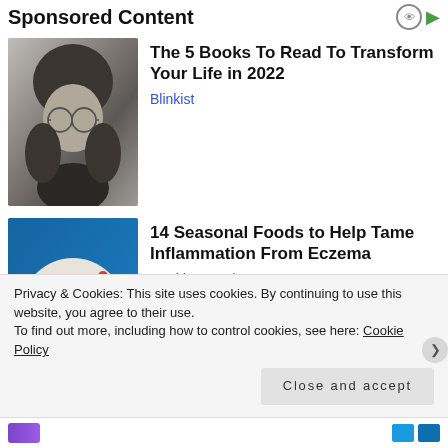Sponsored Content
[Figure (photo): Black and white portrait photo of a young man with long hair and round glasses]
The 5 Books To Read To Transform Your Life in 2022
Blinkist
[Figure (photo): Colorful overhead photo of a bowl/plate with fruits, avocado, berries and leafy greens on a blue background]
14 Seasonal Foods to Help Tame Inflammation From Eczema
HealthCentral
Privacy & Cookies: This site uses cookies. By continuing to use this website, you agree to their use.
To find out more, including how to control cookies, see here: Cookie Policy
Close and accept